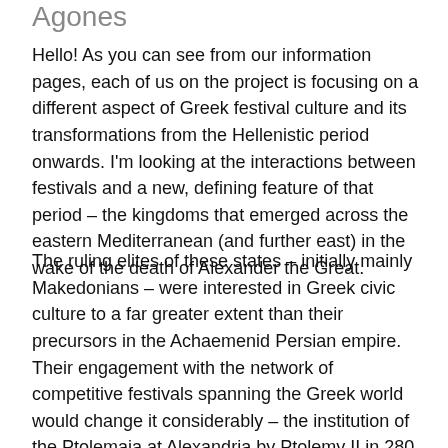Agones
Hello! As you can see from our information pages, each of us on the project is focusing on a different aspect of Greek festival culture and its transformations from the Hellenistic period onwards. I'm looking at the interactions between festivals and a new, defining feature of that period – the kingdoms that emerged across the eastern Mediterranean (and further east) in the wake of the death of Alexander the Great.
The ruling elites of these states – initially mainly Makedonians – were interested in Greek civic culture to a far greater extent than their precursors in the Achaemenid Persian empire. Their engagement with the network of competitive festivals spanning the Greek world would change it considerably – the institution of the Ptolemaia at Alexandria by Ptolemy II in 280 BC, for example, played a key role in the surge of